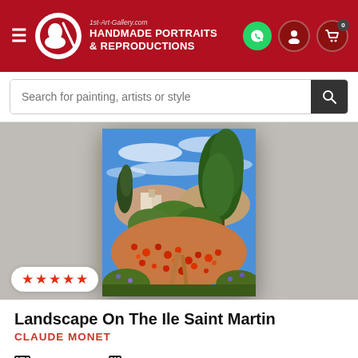[Figure (screenshot): Website header with red background showing 1st-Art-Gallery.com logo with HANDMADE PORTRAITS & REPRODUCTIONS text, hamburger menu, WhatsApp icon, user icon, and cart icon with 0 badge]
Search for painting, artists or style
[Figure (photo): Claude Monet painting 'Landscape On The Ile Saint Martin' showing a poppy field with tall trees against a blue sky, displayed as a framed canvas on a grey background]
★★★★★
Landscape On The Ile Saint Martin
CLAUDE MONET
PICK SIZE   PICK FRAME
Starting from  $313.75